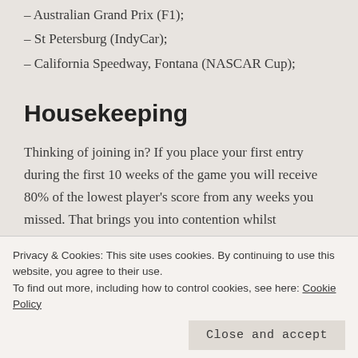– Australian Grand Prix (F1);
– St Petersburg (IndyCar);
– California Speedway, Fontana (NASCAR Cup);
Housekeeping
Thinking of joining in? If you place your first entry during the first 10 weeks of the game you will receive 80% of the lowest player's score from any weeks you missed. That brings you into contention whilst
Privacy & Cookies: This site uses cookies. By continuing to use this website, you agree to their use.
To find out more, including how to control cookies, see here: Cookie Policy